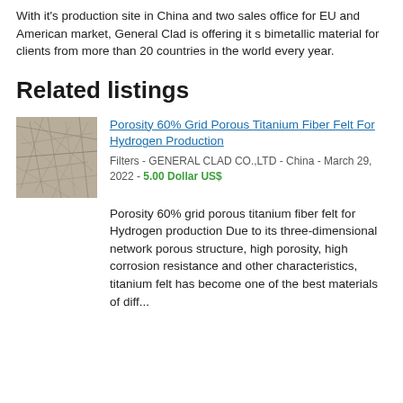With it's production site in China and two sales office for EU and American market, General Clad is offering it s bimetallic material for clients from more than 20 countries in the world every year.
Related listings
[Figure (photo): Close-up photo of porous titanium fiber felt material, showing a fibrous metallic mesh texture in gray-brown tones.]
Porosity 60% Grid Porous Titanium Fiber Felt For Hydrogen Production
Filters - GENERAL CLAD CO.,LTD - China - March 29, 2022 - 5.00 Dollar US$
Porosity 60% grid porous titanium fiber felt for Hydrogen production Due to its three-dimensional network porous structure, high porosity, high corrosion resistance and other characteristics, titanium felt has become one of the best materials of diff...